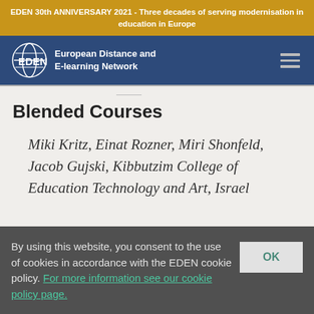EDEN 30th ANNIVERSARY 2021 - Three decades of serving modernisation in education in Europe
[Figure (logo): EDEN European Distance and E-learning Network logo with globe icon]
Blended Courses
Miki Kritz, Einat Rozner, Miri Shonfeld, Jacob Gujski, Kibbutzim College of Education Technology and Art, Israel
By using this website, you consent to the use of cookies in accordance with the EDEN cookie policy. For more information see our cookie policy page.